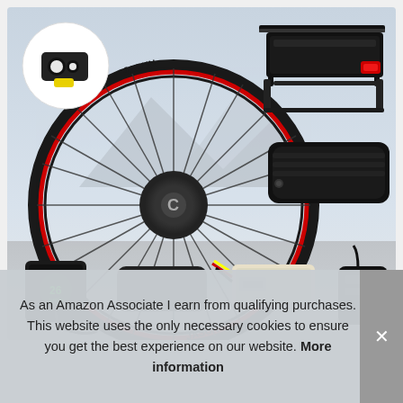[Figure (photo): E-bike conversion kit product photo showing a black motorized rear wheel with red rim stripe (Jasun brand), a rear bike rack with battery and tail light, a downtube battery pack, and smaller accessory components including a display, battery, controller, and throttle.]
As an Amazon Associate I earn from qualifying purchases. This website uses the only necessary cookies to ensure you get the best experience on our website. More information